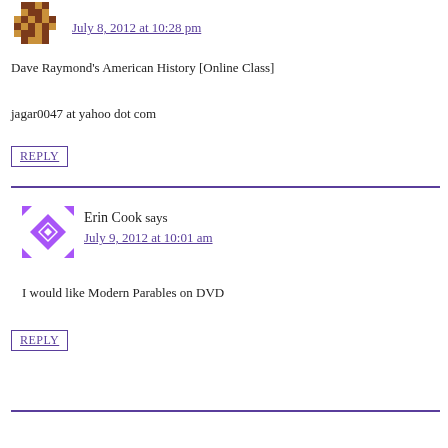[Figure (illustration): Brown pixel/mosaic avatar icon for first commenter]
July 8, 2012 at 10:28 pm
Dave Raymond's American History [Online Class]
jagar0047 at yahoo dot com
REPLY
[Figure (illustration): Purple geometric/diamond pattern avatar icon for Erin Cook]
Erin Cook says
July 9, 2012 at 10:01 am
I would like Modern Parables on DVD
REPLY